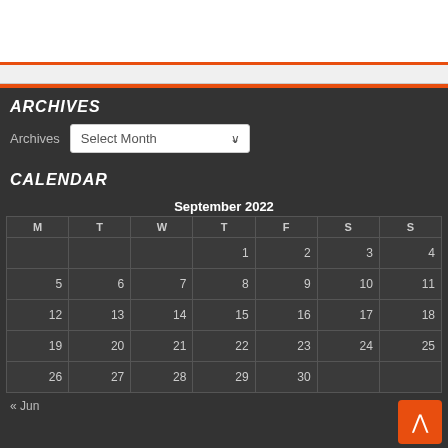ARCHIVES
Archives  Select Month
CALENDAR
| M | T | W | T | F | S | S |
| --- | --- | --- | --- | --- | --- | --- |
|  |  |  | 1 | 2 | 3 | 4 |
| 5 | 6 | 7 | 8 | 9 | 10 | 11 |
| 12 | 13 | 14 | 15 | 16 | 17 | 18 |
| 19 | 20 | 21 | 22 | 23 | 24 | 25 |
| 26 | 27 | 28 | 29 | 30 |  |  |
« Jun